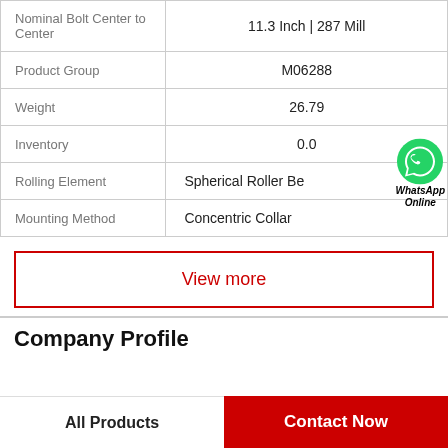| Property | Value |
| --- | --- |
| Nominal Bolt Center to Center | 11.3 Inch | 287 Mill |
| Product Group | M06288 |
| Weight | 26.79 |
| Inventory | 0.0 |
| Rolling Element | Spherical Roller Be… |
| Mounting Method | Concentric Collar… |
View more
Company Profile
All Products
Contact Now